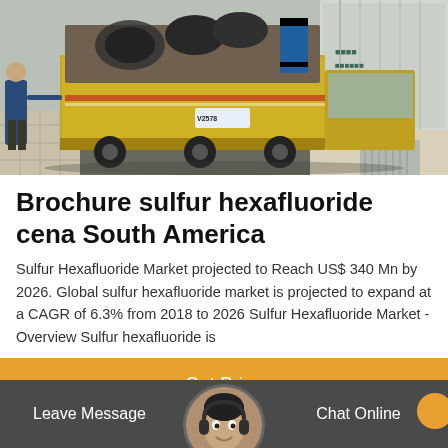[Figure (photo): Photo of workers and a yellow truck/vehicle loaded with cargo including a blue barrel, with a container or building in the background. Scene appears to be in China based on license plate.]
Brochure sulfur hexafluoride cena South America
Sulfur Hexafluoride Market projected to Reach US$ 340 Mn by 2026. Global sulfur hexafluoride market is projected to expand at a CAGR of 6.3% from 2018 to 2026 Sulfur Hexafluoride Market - Overview Sulfur hexafluoride is
Get Price
Leave Message
Chat Online